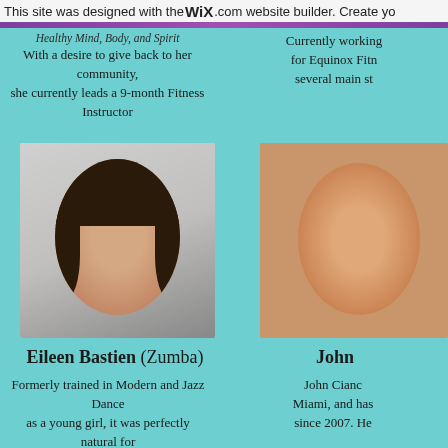This site was designed with the WiX.com website builder. Create yo
Healthy Mind, Body, and Spirit
With a desire to give back to her community, she currently leads a 9-month Fitness Instructor
Currently working for Equinox Fitn several main st
[Figure (photo): Headshot of Eileen Bastien, a woman with long dark hair, smiling]
[Figure (photo): Partial headshot of John, a man]
Eileen Bastien (Zumba)
John
Formerly trained in Modern and Jazz Dance as a young girl, it was perfectly natural for Eileen to pursue music and movement her
John Cianc Miami, and has since 2007. He